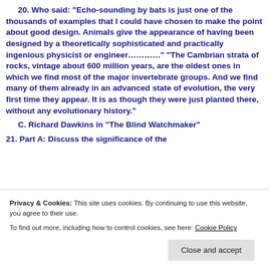20. Who said: “Echo-sounding by bats is just one of the thousands of examples that I could have chosen to make the point about good design. Animals give the appearance of having been designed by a theoretically sophisticated and practically ingenious physicist or engineer………..” “The Cambrian strata of rocks, vintage about 600 million years, are the oldest ones in which we find most of the major invertebrate groups. And we find many of them already in an advanced state of evolution, the very first time they appear. It is as though they were just planted there, without any evolutionary history.”
C. Richard Dawkins in “The Blind Watchmaker”
21. Part A: Discuss the significance of the
Privacy & Cookies: This site uses cookies. By continuing to use this website, you agree to their use.
To find out more, including how to control cookies, see here: Cookie Policy